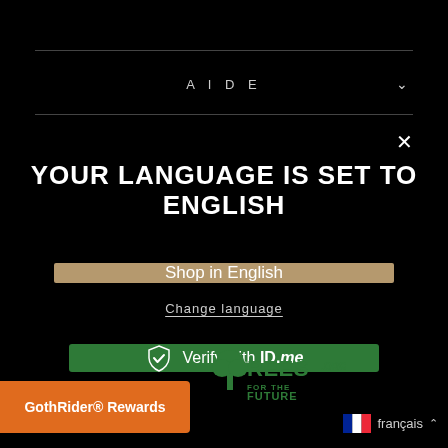AIDE
YOUR LANGUAGE IS SET TO ENGLISH
Shop in English
Change language
[Figure (logo): Verify with ID.me green button with shield icon]
[Figure (logo): Trees.org For The Future green logo]
GothRider® Rewards
français